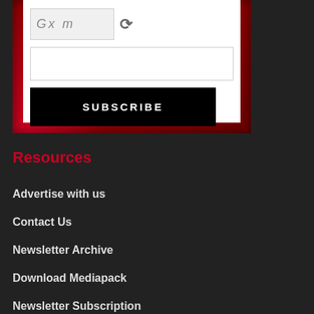[Figure (screenshot): A web form section with a CAPTCHA field showing 'Gx m' with a refresh icon, a text input field, and a black 'SUBSCRIBE' button, all inside a white box with a dark red/crimson decorative frame border on a dark background.]
Resources
Advertise with us
Contact Us
Newsletter Archive
Download Mediapack
Newsletter Subscription